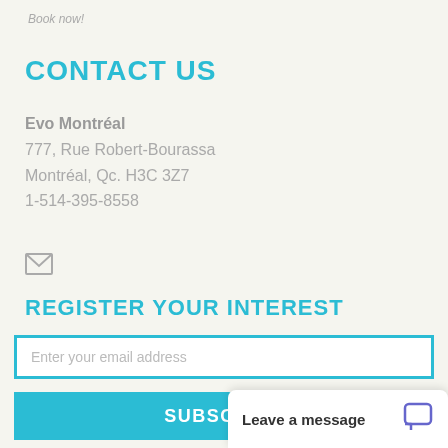Book now!
CONTACT US
Evo Montréal
777, Rue Robert-Bourassa
Montréal, Qc. H3C 3Z7
1-514-395-8558
[Figure (infographic): Email envelope icon]
REGISTER YOUR INTEREST
Enter your email address
SUBSCRIBE
Leave a message